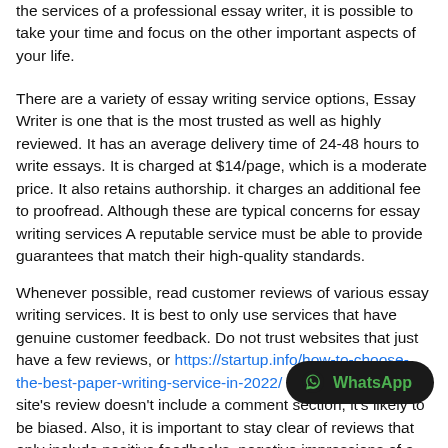the services of a professional essay writer, it is possible to take your time and focus on the other important aspects of your life.
There are a variety of essay writing service options, Essay Writer is one that is the most trusted as well as highly reviewed. It has an average delivery time of 24-48 hours to write essays. It is charged at $14/page, which is a moderate price. It also retains authorship. it charges an additional fee to proofread. Although these are typical concerns for essay writing services A reputable service must be able to provide guarantees that match their high-quality standards.
Whenever possible, read customer reviews of various essay writing services. It is best to only use services that have genuine customer feedback. Do not trust websites that just have a few reviews, or https://startup.info/how-to-choose-the-best-paper-writing-service-in-2022/ that are biased. If a site's review doesn't include a comment section, it's likely to be biased. Also, it is important to stay clear of reviews that only include positive feedbacks. negative impressions of a product or service, be honest in the review.